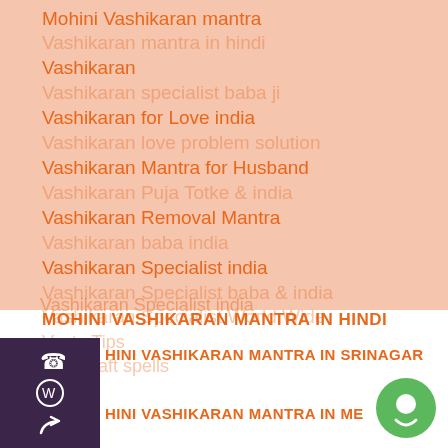Mohini Vashikaran mantra
Vashikaran
Vashikaran for Love india
Vashikaran Mantra for Husband
Vashikaran Removal Mantra
Vashikaran Specialist india
Vashikaran Specialist World Wide
Vastu Tips
witchcraft spells
MOHINI VASHIKARAN MANTRA IN HINDI
HINI VASHIKARAN MANTRA IN SRINAGAR
HINI VASHIKARAN MANTRA IN ME...
[Figure (other): Dark purple sidebar with phone icon, WhatsApp icon, and share/forward icon stacked vertically]
[Figure (other): Green circular chat bubble icon in bottom right corner]